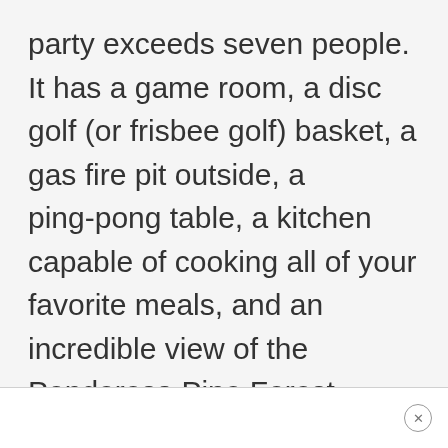party exceeds seven people. It has a game room, a disc golf (or frisbee golf) basket, a gas fire pit outside, a ping-pong table, a kitchen capable of cooking all of your favorite meals, and an incredible view of the Ponderosa Pine Forest.
×